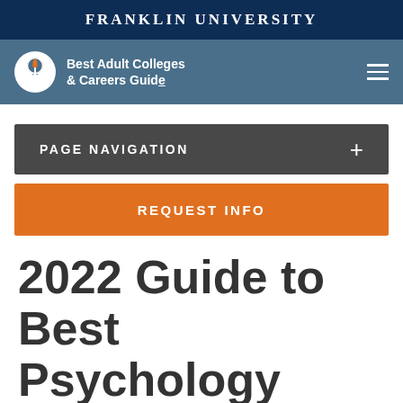FRANKLIN UNIVERSITY
[Figure (logo): Best Adult Colleges & Careers Guide logo with torch icon and hamburger menu]
PAGE NAVIGATION +
REQUEST INFO
2022 Guide to Best Psychology Degrees Near Woodbridge,